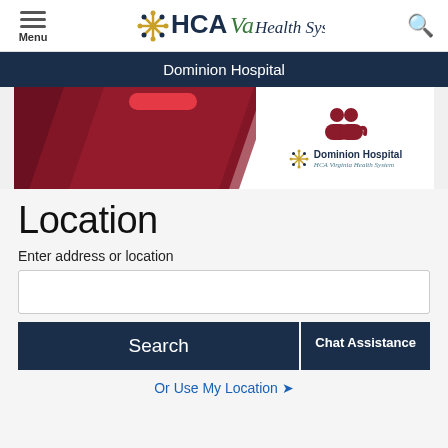[Figure (logo): HCAVa Health System logo with starburst icon]
Dominion Hospital
[Figure (illustration): Red diagonal banner with Dominion Hospital logo and people icon on white right panel]
Location
Enter address or location
Search
Chat Assistance
Or Use My Location